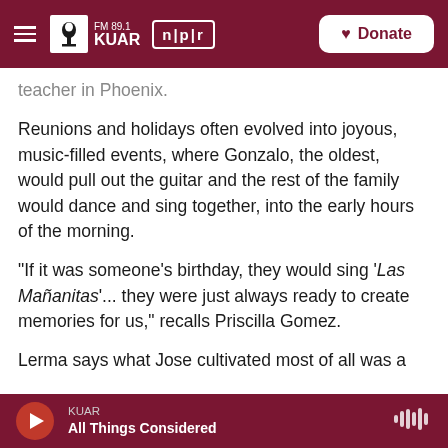FM 89.1 KUAR | NPR | Donate
teacher in Phoenix.
Reunions and holidays often evolved into joyous, music-filled events, where Gonzalo, the oldest, would pull out the guitar and the rest of the family would dance and sing together, into the early hours of the morning.
"If it was someone's birthday, they would sing 'Las Mañanitas'... they were just always ready to create memories for us," recalls Priscilla Gomez.
Lerma says what Jose cultivated most of all was a
KUAR | All Things Considered